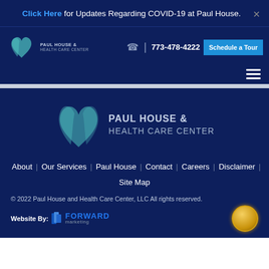Click Here for Updates Regarding COVID-19 at Paul House.
[Figure (logo): Paul House & Health Care Center logo in navigation bar]
773-478-4222
Schedule a Tour
[Figure (logo): Paul House & Health Care Center large footer logo]
About | Our Services | Paul House | Contact | Careers | Disclaimer | Site Map
© 2022 Paul House and Health Care Center, LLC All rights reserved.
Website By: Forward Marketing